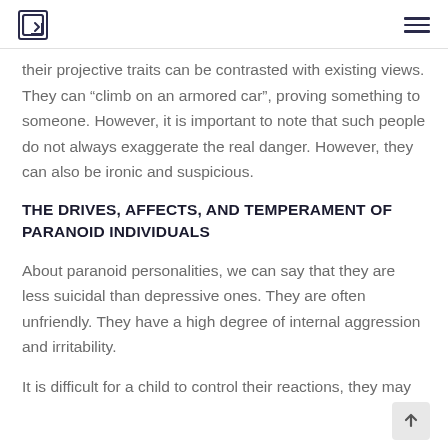[Logo] [Menu]
their projective traits can be contrasted with existing views. They can “climb on an armored car”, proving something to someone. However, it is important to note that such people do not always exaggerate the real danger. However, they can also be ironic and suspicious.
THE DRIVES, AFFECTS, AND TEMPERAMENT OF PARANOID INDIVIDUALS
About paranoid personalities, we can say that they are less suicidal than depressive ones. They are often unfriendly. They have a high degree of internal aggression and irritability.
It is difficult for a child to control their reactions, they may